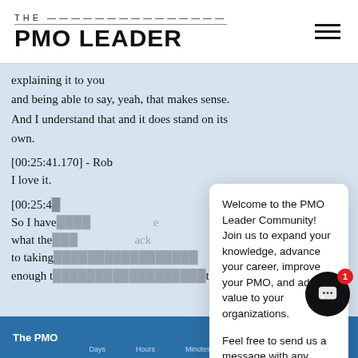THE PMO LEADER
explaining it to you
and being able to say, yeah, that makes sense. And I understand that and it does stand on its own.
[00:25:41.170] - Rob
I love it.
[00:25:4...] - ...
So I have... what the... back to taking... enough t... it,
Welcome to the PMO Leader Community! Join us to expand your knowledge, advance your career, improve your PMO, and add value to your organizations.

Feel free to send us a message with any questions!
The PMO ... Days  Hours  Minutes  Seconds